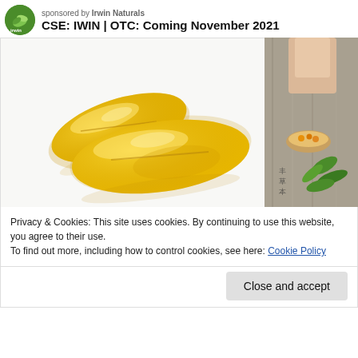[Figure (logo): Irwin Naturals green circular logo with leaf icon]
sponsored by Irwin Naturals
CSE: IWIN | OTC: Coming November 2021
[Figure (photo): Two golden yellow gel capsule supplements on white background]
[Figure (photo): Partial view of a person holding green herb leaves with small bowl of capsules]
Privacy & Cookies: This site uses cookies. By continuing to use this website, you agree to their use.
To find out more, including how to control cookies, see here: Cookie Policy
Close and accept